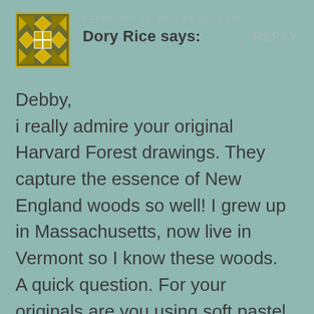[Figure (illustration): Square quilt-pattern avatar icon with gold and white geometric design on dark background]
FEBRUARY 28, 2015 AT 11:59 AM
Dory Rice says:
REPLY
Debby,
i really admire your original Harvard Forest drawings. They capture the essence of New England woods so well! I grew up in Massachusetts, now live in Vermont so I know these woods.
A quick question. For your originals are you using soft pastel or pastel